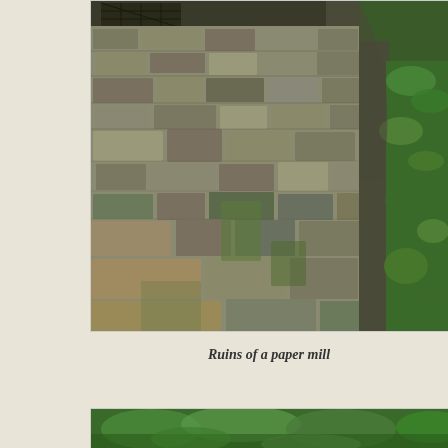[Figure (photo): Ruins of a stone wall of a paper mill, showing crumbling masonry with moss and vegetation growing between the rocks, green plants on the right side, and a barred window visible at the top.]
Ruins of a paper mill
[Figure (photo): Partial view of a lush green forest scene, visible at the bottom of the page.]